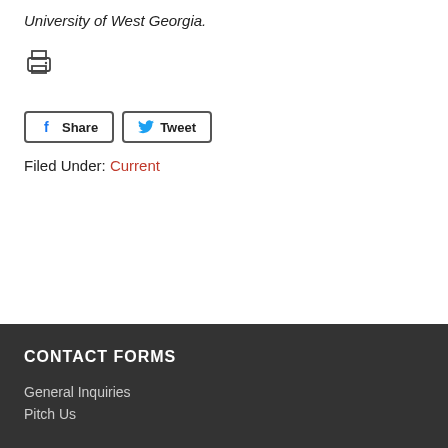University of West Georgia.
[Figure (other): Print icon (printer symbol)]
[Figure (other): Share and Tweet social media buttons with Facebook and Twitter icons]
Filed Under: Current
CONTACT FORMS
General Inquiries
Pitch Us